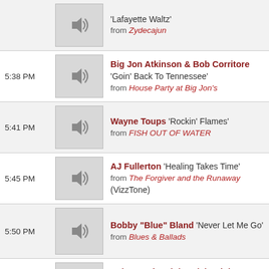'Lafayette Waltz' from Zydecajun
5:38 PM — Big Jon Atkinson & Bob Corritore 'Goin' Back To Tennessee' from House Party at Big Jon's
5:41 PM — Wayne Toups 'Rockin' Flames' from FISH OUT OF WATER
5:45 PM — AJ Fullerton 'Healing Takes Time' from The Forgiver and the Runaway (VizzTone)
5:50 PM — Bobby "Blue" Bland 'Never Let Me Go' from Blues & Ballads
5:54 PM — Kyle Huval and the Dixie Club Ramblers 'La Robe' N from Amedee's Waltz (Valcour)